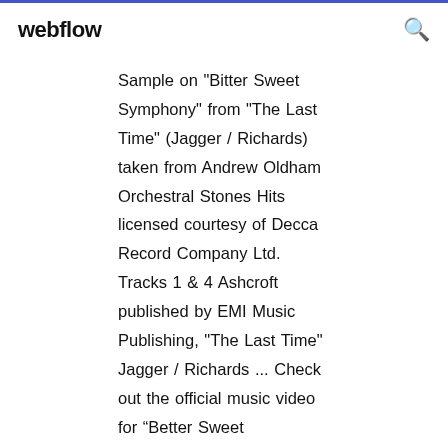webflow
Sample on "Bitter Sweet Symphony" from "The Last Time" (Jagger / Richards) taken from Andrew Oldham Orchestral Stones Hits licensed courtesy of Decca Record Company Ltd. Tracks 1 & 4 Ashcroft published by EMI Music Publishing, "The Last Time" Jagger / Richards ... Check out the official music video for “Better Sweet Symphony” by The Verve Discover more about this classic song here: Listen to more from The Verve: Listen to some of the The Verve  ... The Verve – Bitter Sweet Symphony (Official Video) Riomar Bruno 20/04/2019 Videos Comentar. Compartilhe “Bitter Sweet Symphony” é a música mais conhecida da banda britânica The Verve.